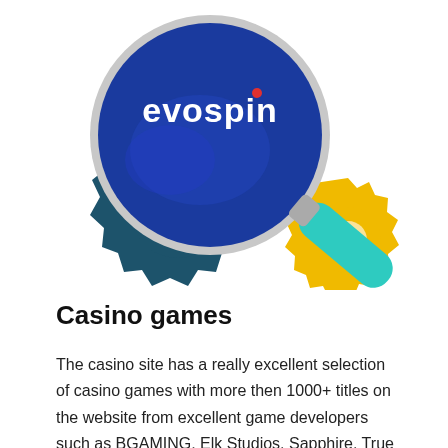[Figure (illustration): Illustration of a magnifying glass with the Evospin logo (blue circle with white text 'evospin' and a red dot above the 'i') overlaid on two interlocking gears — a large dark teal gear on the left and a smaller yellow gear on the right — with a teal/turquoise magnifying glass handle extending to the upper right.]
Casino games
The casino site has a really excellent selection of casino games with more then 1000+ titles on the website from excellent game developers such as BGAMING, Elk Studios, Sapphire, True Lab, Relax Gaming, Tom Horn Gaming, Hacksaw Gaming, Nolimit City, Kalamba Games, Wazdan, PG SOFT, Thunderkick, Betsoft, Silverback, Fantasma Games, Gaming1, Electric Elephant, Playson, Amatic Industries,